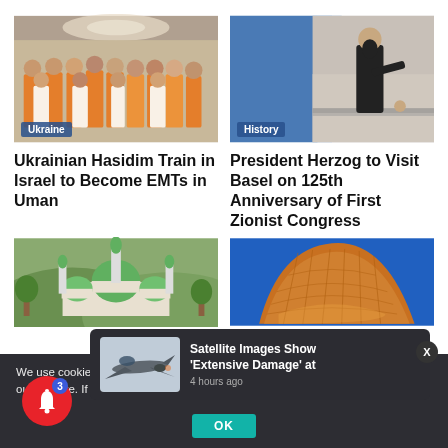[Figure (photo): Group of people in orange vests indoors, Ukraine badge overlay]
[Figure (photo): Historical black-and-white photo of a man looking over a railing, History badge overlay]
Ukrainian Hasidim Train in Israel to Become EMTs in Uman
President Herzog to Visit Basel on 125th Anniversary of First Zionist Congress
[Figure (photo): Mosque with green domes on a hillside]
[Figure (photo): Modern curved copper-toned building against blue sky]
We use cookies to ensure that we give you the best experience on our website. If yo
[Figure (photo): Military jet aircraft — push notification thumbnail]
Satellite Images Show 'Extensive Damage' at
4 hours ago